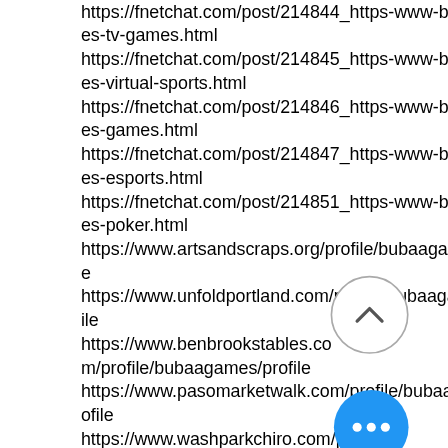https://fnetchat.com/post/214844_https-www-buba-games-tv-games.html
https://fnetchat.com/post/214845_https-www-buba-games-virtual-sports.html
https://fnetchat.com/post/214846_https-www-buba-games-games.html
https://fnetchat.com/post/214847_https-www-buba-games-esports.html
https://fnetchat.com/post/214851_https-www-buba-games-poker.html
https://www.artsandscraps.org/profile/bubaagames/profile
https://www.unfoldportland.com/profile/bubaagames/profile
https://www.benbrookstables.com/profile/bubaagames/profile
https://www.pasomarketwalk.com/profile/bubaagames/profile
https://www.washparkchiro.com/profile/bubaagames/profile
https://www.ywcacharleston.org/profile/bubaagames/profile